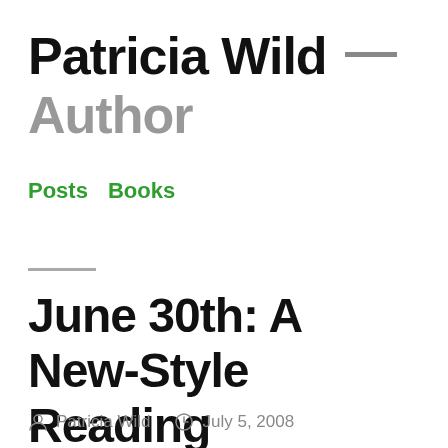Patricia Wild — Author
Posts   Books
June 30th: A New-Style Reading
Patricia Wild   July 5, 2008